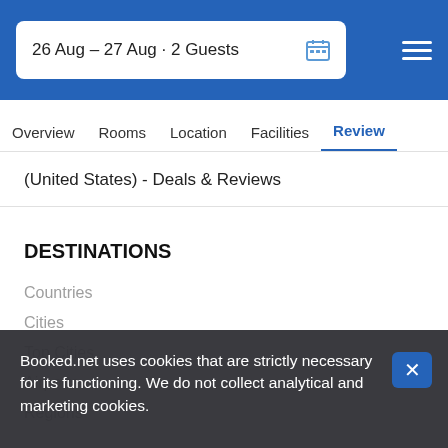26 Aug – 27 Aug · 2 Guests
Overview
Rooms
Location
Facilities
Review
(United States) - Deals & Reviews
DESTINATIONS
Countries
Cities
Top Cities
Airports
Regions
Districts
Landmarks
Booked.net uses cookies that are strictly necessary for its functioning. We do not collect analytical and marketing cookies.